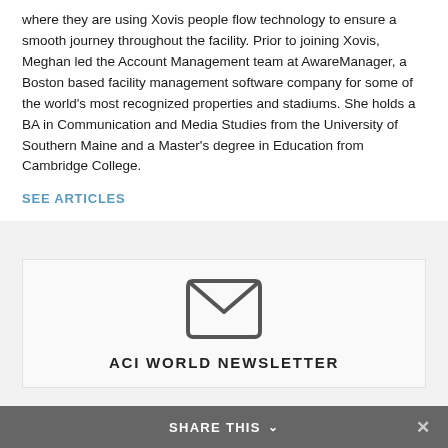where they are using Xovis people flow technology to ensure a smooth journey throughout the facility. Prior to joining Xovis, Meghan led the Account Management team at AwareManager, a Boston based facility management software company for some of the world's most recognized properties and stadiums. She holds a BA in Communication and Media Studies from the University of Southern Maine and a Master's degree in Education from Cambridge College.
SEE ARTICLES
[Figure (illustration): Envelope/mail icon — a rounded rectangle outline with a V-shaped fold line across the top, representing email]
ACI WORLD NEWSLETTER
SHARE THIS ∨  ✕